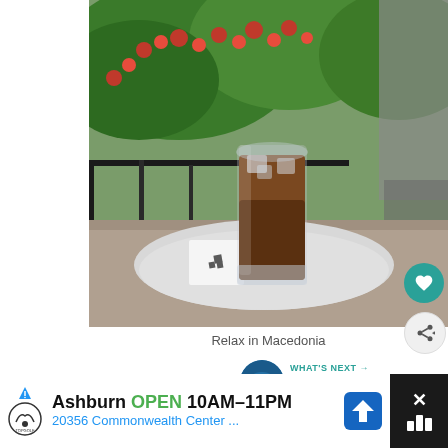[Figure (photo): A glass of iced coffee or frappe on a white plate/tray, set on a wooden table at an outdoor cafe. Red flowering plants and dark railing visible in background, person in gray clothing partially visible at right.]
Relax in Macedonia
[Figure (photo): Small circular thumbnail of a blue illuminated scene, used as the 'What's Next' preview image.]
WHAT'S NEXT → Bali – Heavenly...
Ashburn OPEN 10AM–11PM 20356 Commonwealth Center ...